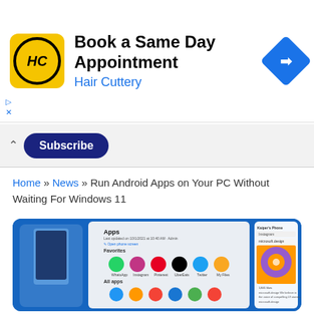[Figure (screenshot): Hair Cuttery advertisement banner with yellow HC logo, title 'Book a Same Day Appointment', subtitle 'Hair Cuttery', and a blue diamond navigation icon on the right.]
▷ ×
Subscribe
Home » News » Run Android Apps on Your PC Without Waiting For Windows 11
[Figure (screenshot): Screenshot showing a Windows phone mirroring app interface with Android apps including WhatsApp, Instagram, Pinterest, UberEats, Twitter, My Files, and other apps visible, alongside an Instagram post from microsoft.design.]